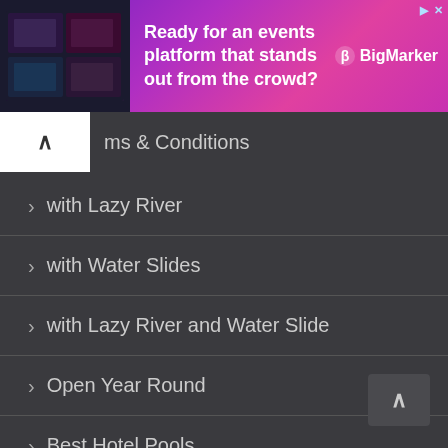[Figure (screenshot): BigMarker advertisement banner with purple/pink gradient background, thumbnail image on left, text 'Ready for an events platform that stands out from the crowd?' and BigMarker logo on right]
Terms & Conditions
with Lazy River
with Water Slides
with Lazy River and Water Slide
Open Year Round
Best Hotel Pools
with a Beach